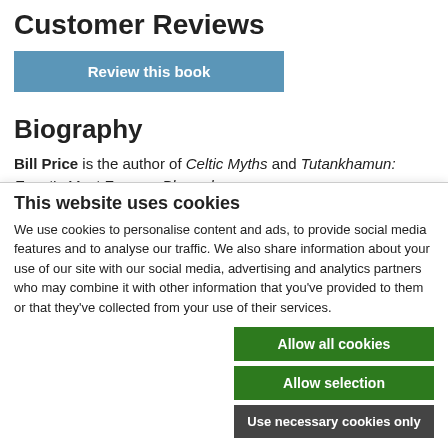Customer Reviews
Review this book
Biography
Bill Price is the author of Celtic Myths and Tutankhamun: Egypt's Most Famous Pharaoh.
Current promotions
This website uses cookies
We use cookies to personalise content and ads, to provide social media features and to analyse our traffic. We also share information about your use of our site with our social media, advertising and analytics partners who may combine it with other information that you've provided to them or that they've collected from your use of their services.
Allow all cookies
Allow selection
Use necessary cookies only